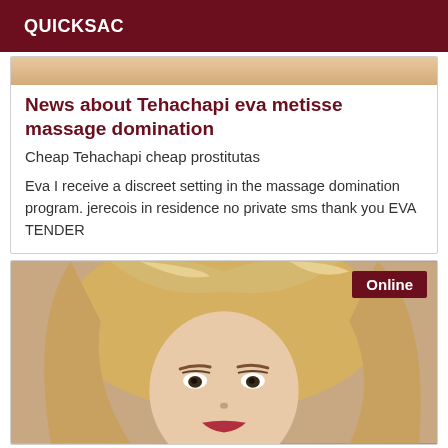QUICKSAC
[Figure (photo): Partial photo of a person at the top of the card, showing skin tones (cropped)]
News about Tehachapi eva metisse massage domination
Cheap Tehachapi cheap prostitutas
Eva I receive a discreet setting in the massage domination program. jerecois in residence no private sms thank you EVA TENDER
[Figure (photo): Portrait photo of a blonde woman with styled hair, makeup, looking at camera. 'Online' badge in top right corner.]